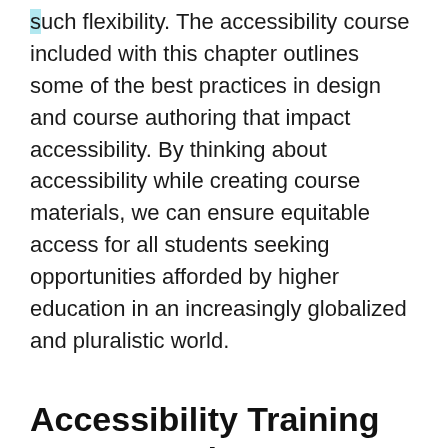such flexibility. The accessibility course included with this chapter outlines some of the best practices in design and course authoring that impact accessibility. By thinking about accessibility while creating course materials, we can ensure equitable access for all students seeking opportunities afforded by higher education in an increasingly globalized and pluralistic world.
Accessibility Training Course and Resources
The course is designed to be an 8-credit hour,